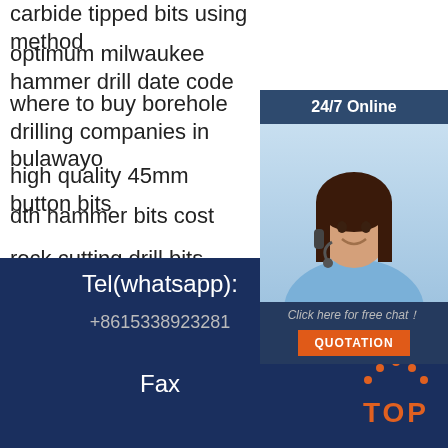carbide tipped bits using method
optimum milwaukee hammer drill date code
where to buy borehole drilling companies in bulawayo
high quality 45mm button bits
dth hammer bits cost
rock cutting drill bits importers
mining crevice tools cost
high quality blast hole drill suppliers
[Figure (infographic): 24/7 online chat widget with a customer service representative photo, 'Click here for free chat!' text, and a QUOTATION button]
Tel(whatsapp):
+8615338923281
Fax
[Figure (logo): TOP logo in orange with decorative dots above the letters]